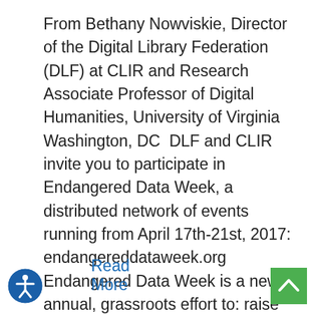From Bethany Nowviskie, Director of the Digital Library Federation (DLF) at CLIR and Research Associate Professor of Digital Humanities, University of Virginia Washington, DC  DLF and CLIR invite you to participate in Endangered Data Week, a distributed network of events running from April 17th-21st, 2017: endangereddataweek.org Endangered Data Week is a new, annual, grassroots effort to: raise awareness of threats to publicly available data of …
Read More